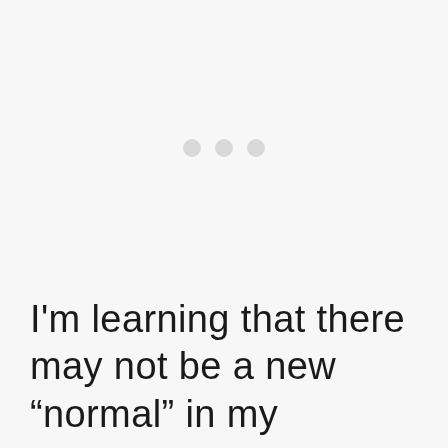[Figure (other): Loading indicator with three light gray dots centered in a large white/light gray area]
I'm learning that there may not be a new “normal” in my